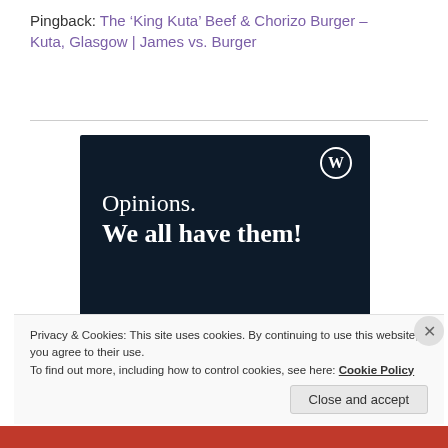Pingback: The ‘King Kuta’ Beef & Chorizo Burger – Kuta, Glasgow | James vs. Burger
[Figure (screenshot): WordPress advertisement banner with dark navy background showing text 'Opinions. We all have them!' with a WordPress logo, a pink 'Start a survey' button, and a Crowdsignal logo circle.]
Privacy & Cookies: This site uses cookies. By continuing to use this website, you agree to their use.
To find out more, including how to control cookies, see here: Cookie Policy
Close and accept